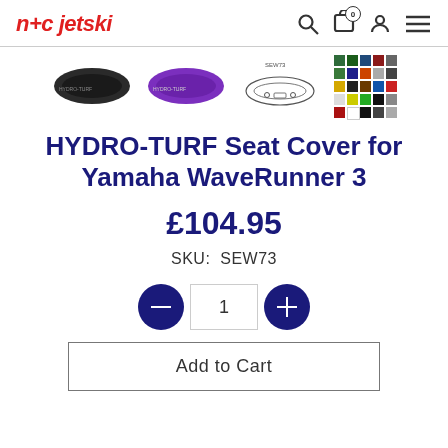n+c jetski
[Figure (photo): Product thumbnail images: black seat cover, purple seat cover, line drawing diagram labeled SEW73, and a color swatch grid]
HYDRO-TURF Seat Cover for Yamaha WaveRunner 3
£104.95
SKU:  SEW73
[Figure (other): Quantity selector: minus button, quantity input showing 1, plus button]
Add to Cart